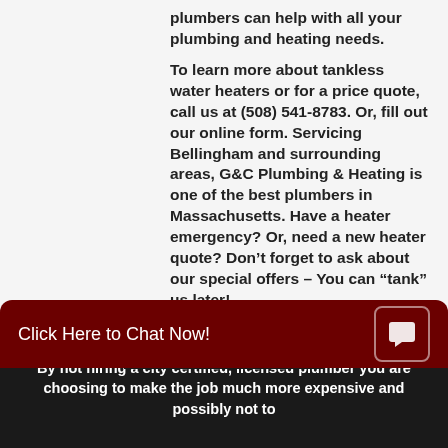plumbers can help with all your plumbing and heating needs.
To learn more about tankless water heaters or for a price quote, call us at (508) 541-8783. Or, fill out our online form. Servicing Bellingham and surrounding areas, G&C Plumbing & Heating is one of the best plumbers in Massachusetts. Have a heater emergency? Or, need a new heater quote? Don't forget to ask about our special offers – You can "tank" us later!
Click Here to Chat Now!
By not hiring a city certified, licensed plumber you are choosing to make the job much more expensive and possibly not to